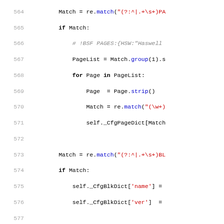[Figure (screenshot): Source code listing in Python, lines 564-595, showing regex matching and dictionary population logic for BSF/page/block/key parsing.]